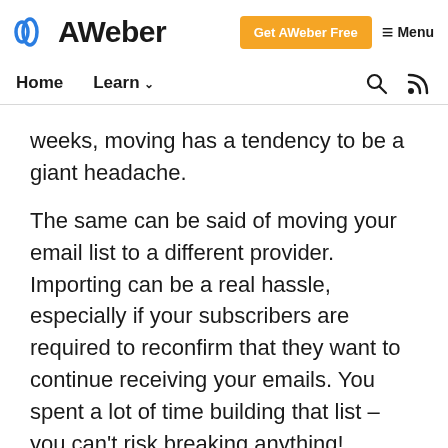[Figure (logo): AWeber logo with circular wave icon in blue]
Get AWeber Free  ≡ Menu
Home  Learn ∨
weeks, moving has a tendency to be a giant headache.
The same can be said of moving your email list to a different provider. Importing can be a real hassle, especially if your subscribers are required to reconfirm that they want to continue receiving your emails. You spent a lot of time building that list – you can't risk breaking anything!